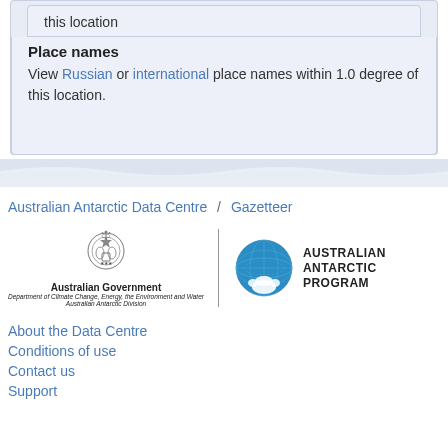this location
Place names
View Russian or international place names within 1.0 degree of this location.
Australian Antarctic Data Centre / Gazetteer
[Figure (logo): Australian Government logo with coat of arms, Department of Climate Change, Energy, the Environment and Water, Australian Antarctic Division]
[Figure (logo): Australian Antarctic Program logo with globe]
About the Data Centre
Conditions of use
Contact us
Support